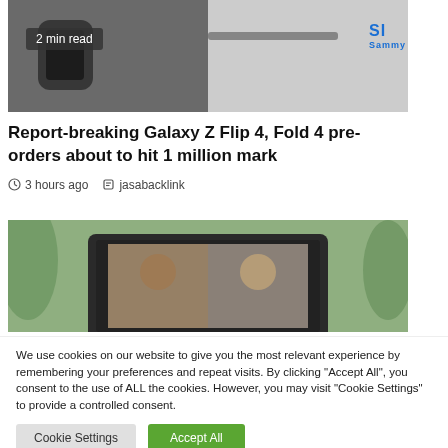[Figure (photo): Top cropped image showing a Samsung smartwatch and stylus/tablet on a light background, with a '2 min read' badge overlay and partial 'Sammy' logo in blue at top right]
Report-breaking Galaxy Z Flip 4, Fold 4 pre-orders about to hit 1 million mark
3 hours ago   jasabacklink
[Figure (photo): Cropped image showing a laptop screen with a video call, green plants in background]
We use cookies on our website to give you the most relevant experience by remembering your preferences and repeat visits. By clicking "Accept All", you consent to the use of ALL the cookies. However, you may visit "Cookie Settings" to provide a controlled consent.